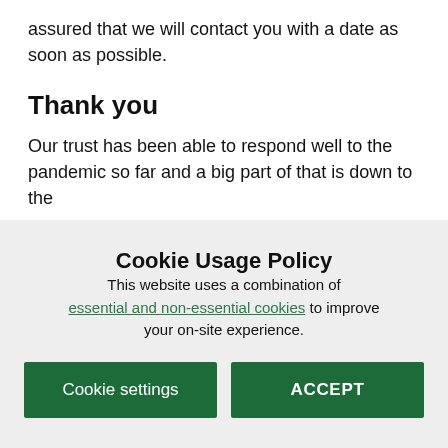assured that we will contact you with a date as soon as possible.
Thank you
Our trust has been able to respond well to the pandemic so far and a big part of that is down to the
Cookie Usage Policy
This website uses a combination of essential and non-essential cookies to improve your on-site experience.
Cookie settings | ACCEPT